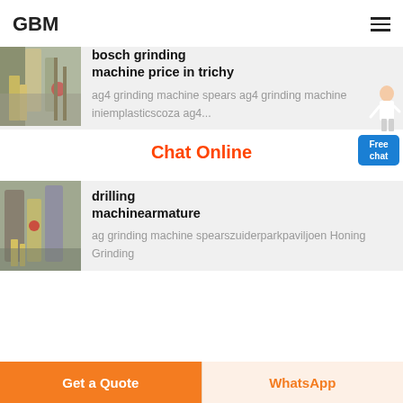GBM
bosch grinding machine price in trichy
ag4 grinding machine spears ag4 grinding machine iniemplasticscoza ag4...
Chat Online
drilling machinearmature
ag grinding machine spearszuiderparkpaviljoen Honing Grinding
Get a Quote
WhatsApp